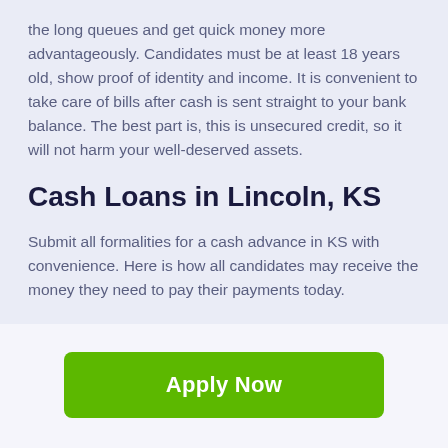the long queues and get quick money more advantageously. Candidates must be at least 18 years old, show proof of identity and income. It is convenient to take care of bills after cash is sent straight to your bank balance. The best part is, this is unsecured credit, so it will not harm your well-deserved assets.
Cash Loans in Lincoln, KS
Submit all formalities for a cash advance in KS with convenience. Here is how all candidates may receive the money they need to pay their payments today.
[Figure (other): Green 'Apply Now' button]
Applying does NOT affect your credit score! No credit check to apply.